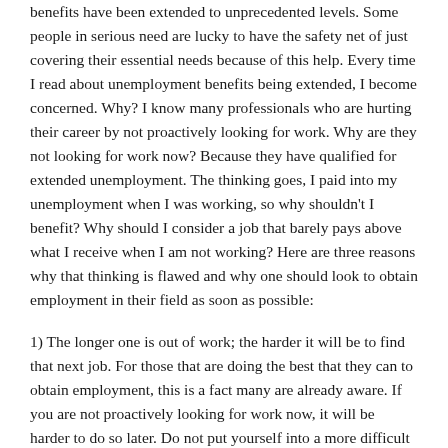benefits have been extended to unprecedented levels. Some people in serious need are lucky to have the safety net of just covering their essential needs because of this help. Every time I read about unemployment benefits being extended, I become concerned. Why? I know many professionals who are hurting their career by not proactively looking for work. Why are they not looking for work now? Because they have qualified for extended unemployment. The thinking goes, I paid into my unemployment when I was working, so why shouldn't I benefit? Why should I consider a job that barely pays above what I receive when I am not working? Here are three reasons why that thinking is flawed and why one should look to obtain employment in their field as soon as possible:
1) The longer one is out of work; the harder it will be to find that next job. For those that are doing the best that they can to obtain employment, this is a fact many are already aware. If you are not proactively looking for work now, it will be harder to do so later. Do not put yourself into a more difficult situation if you can avoid it.